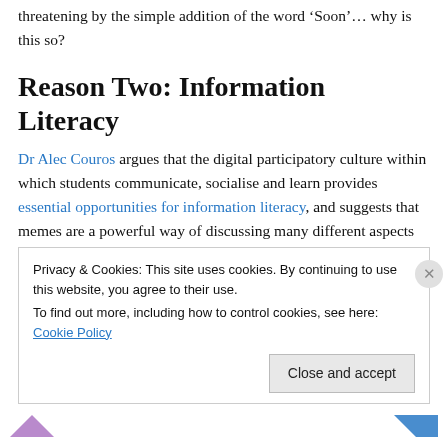threatening by the simple addition of the word ‘Soon’… why is this so?
Reason Two: Information Literacy
Dr Alec Couros argues that the digital participatory culture within which students communicate, socialise and learn provides essential opportunities for information literacy, and suggests that memes are a powerful way of discussing many different aspects of this literacy. He
Privacy & Cookies: This site uses cookies. By continuing to use this website, you agree to their use.
To find out more, including how to control cookies, see here: Cookie Policy
Close and accept